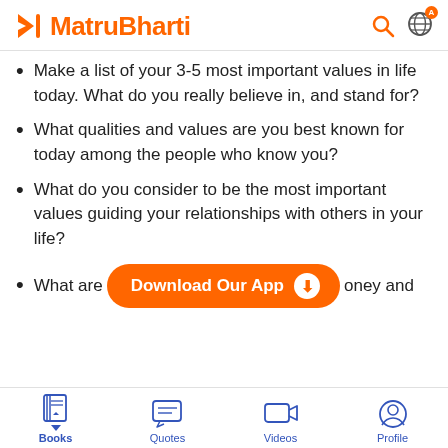MatruBharti
Make a list of your 3-5 most important values in life today. What do you really believe in, and stand for?
What qualities and values are you best known for today among the people who know you?
What do you consider to be the most important values guiding your relationships with others in your life?
What are … oney and
Books  Quotes  Videos  Profile